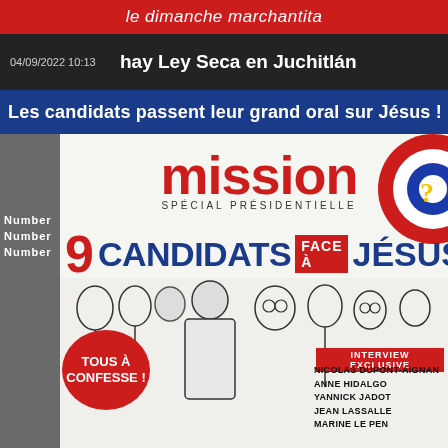le dimanche marchantita
04/09/2022 10:13   hay Ley Seca en Juchitlán
Les candidats passent leur grand oral sur Jésus !
Number
Number
Number
[Figure (illustration): Red and blue concentric target/bullseye circle with question mark, top right of magazine cover]
mission — SPÉCIAL PRÉSIDENTIELLE
9 CANDIDATS FACE À JÉSUS
[Figure (illustration): Sketch-style illustration of 9 political candidates standing as a group, viewed from behind and sides]
TOUS À CONFESSE !
INTERVIEW EXCLUSIVE
NICOLAS DUPONT-AIGNAN
ANNE HIDALGO
YANNICK JADOT
JEAN LASSALLE
MARINE LE PEN